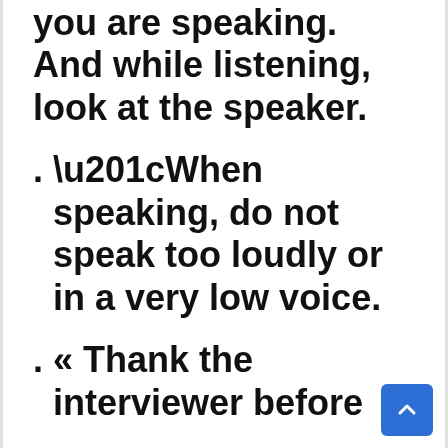you are speaking. And while listening, look at the speaker.
“When speaking, do not speak too loudly or in a very low voice.
« Thank the interviewer before